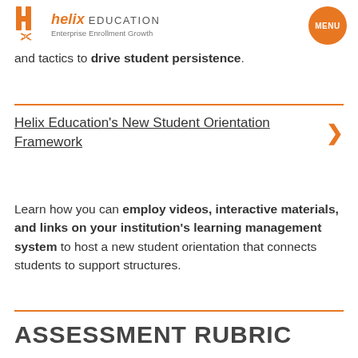helix EDUCATION Enterprise Enrollment Growth | MENU
y … g and tactics to drive student persistence.
Helix Education's New Student Orientation Framework
Learn how you can employ videos, interactive materials, and links on your institution's learning management system to host a new student orientation that connects students to support structures.
ASSESSMENT RUBRIC